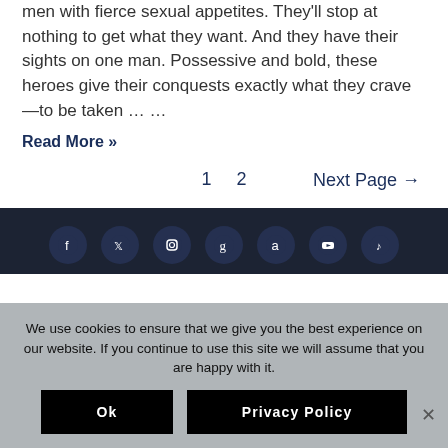men with fierce sexual appetites. They'll stop at nothing to get what they want. And they have their sights on one man. Possessive and bold, these heroes give their conquests exactly what they crave—to be taken … …
Read More »
1   2   Next Page →
[Figure (other): Dark footer bar with social media icons: Facebook, Twitter, Instagram, Goodreads, Amazon, YouTube, TikTok]
We use cookies to ensure that we give you the best experience on our website. If you continue to use this site we will assume that you are happy with it.
Ok   Privacy Policy